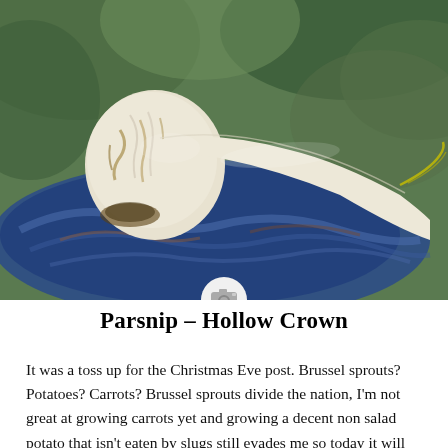[Figure (photo): Close-up photograph of a parsnip (Hollow Crown variety) lying on a decorative blue swirled ceramic plate. The parsnip is white/cream colored with brown markings, shown whole and partially peeled against a blurred green background.]
Parsnip – Hollow Crown
It was a toss up for the Christmas Eve post. Brussel sprouts? Potatoes? Carrots? Brussel sprouts divide the nation, I'm not great at growing carrots yet and growing a decent non salad potato that isn't eaten by slugs still evades me so today it will be parsnips. As tomorrow will be celebrating the